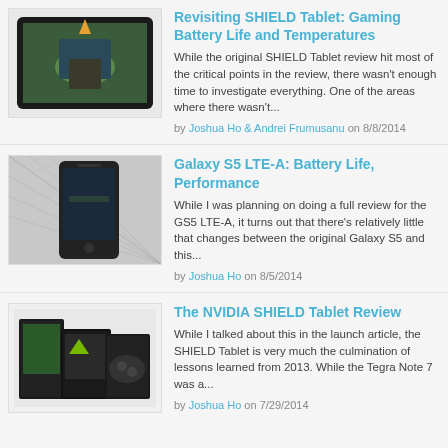[Figure (photo): SHIELD Tablet shown at an angle displaying a game on screen]
Revisiting SHIELD Tablet: Gaming Battery Life and Temperatures
While the original SHIELD Tablet review hit most of the critical points in the review, there wasn't enough time to investigate everything. One of the areas where there wasn't...
by Joshua Ho & Andrei Frumusanu on 8/8/2014
[Figure (photo): Samsung Galaxy S5 LTE-A smartphone in front of a fabric/mesh background]
Galaxy S5 LTE-A: Battery Life, Performance
While I was planning on doing a full review for the GS5 LTE-A, it turns out that there's relatively little that changes between the original Galaxy S5 and this...
by Joshua Ho on 8/5/2014
[Figure (photo): NVIDIA SHIELD Tablet product boxes displayed together]
The NVIDIA SHIELD Tablet Review
While I talked about this in the launch article, the SHIELD Tablet is very much the culmination of lessons learned from 2013. While the Tegra Note 7 was a...
by Joshua Ho on 7/29/2014